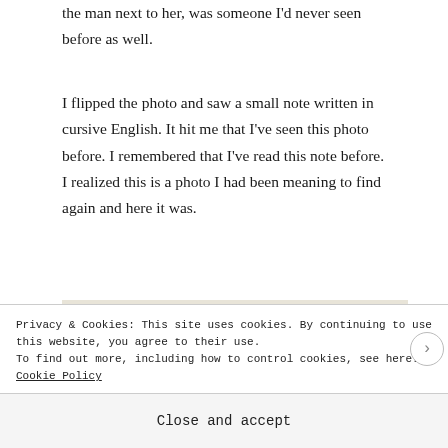the man next to her, was someone I'd never seen before as well.
I flipped the photo and saw a small note written in cursive English. It hit me that I've seen this photo before. I remembered that I've read this note before. I realized this is a photo I had been meaning to find again and here it was.
[Figure (photo): A handwritten cursive note on aged paper reading 'Nothing can erase the memories of']
Privacy & Cookies: This site uses cookies. By continuing to use this website, you agree to their use.
To find out more, including how to control cookies, see here: Cookie Policy
Close and accept